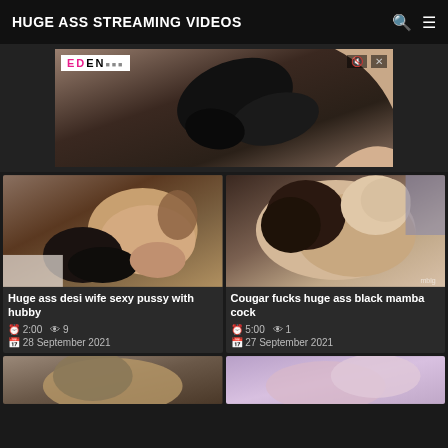HUGE ASS STREAMING VIDEOS
[Figure (photo): Advertisement banner with EDEN logo showing adult content thumbnail]
[Figure (photo): Video thumbnail: Huge ass desi wife sexy pussy with hubby]
Huge ass desi wife sexy pussy with hubby
2:00  9
28 September 2021
[Figure (photo): Video thumbnail: Cougar fucks huge ass black mamba cock]
Cougar fucks huge ass black mamba cock
5:00  1
27 September 2021
[Figure (photo): Video thumbnail bottom left (partial)]
[Figure (photo): Video thumbnail bottom right (partial)]